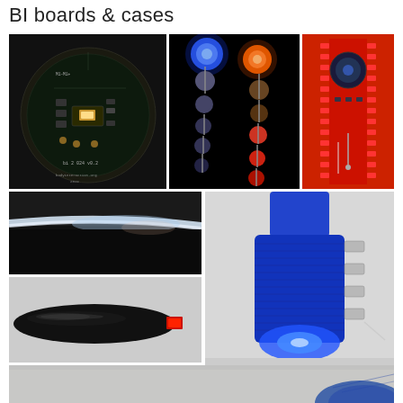BI boards & cases
[Figure (photo): Circular black PCB with LED, labeled 'bi 2 024 v0.2', bodyinteraction.org 2019]
[Figure (photo): Dark background with glowing blue and red/orange LED beads on flexible chain]
[Figure (photo): Red PCB board with circular module and zipper-like edge connectors]
[Figure (photo): Close-up of black and white layered material edge, illuminated]
[Figure (photo): Blue 3D-printed case/enclosure with glowing blue LED, with metal clips attached]
[Figure (photo): Black 3D-printed elongated case with small red component at end]
[Figure (photo): Partial view of light grey/white surface with blue fabric object at corner]